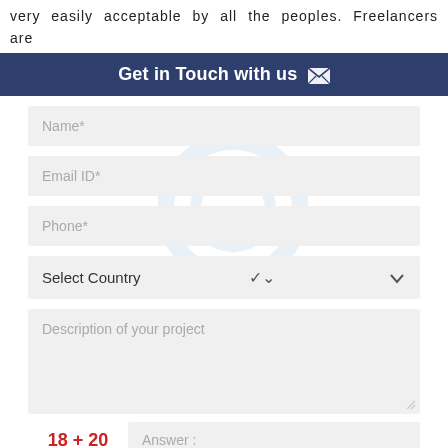very easily acceptable by all the peoples. Freelancers are
Get in Touch with us ✉
[Figure (screenshot): Contact form with fields: Name*, Email ID*, Phone*, Select Country dropdown, Description of your project textarea, CAPTCHA math question (18 + 20), Answer input, and SUBMIT button. A faint blue circular logo watermark is visible behind the form fields.]
18 + 20  Answer :
SUBMIT